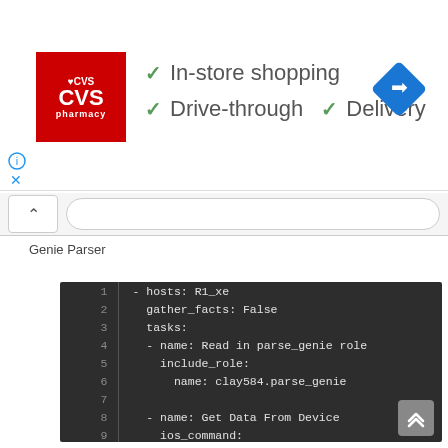[Figure (screenshot): CVS Pharmacy ad banner showing logo and service icons: In-store shopping, Drive-through, Delivery with checkmarks, and a map navigation icon]
xxxxxxGenie Parser xxxxxxxxxxxxxxxxxxxxxxxxxxxxxxxxxxxxxxxxxxxxxxxxxxxxxxxxxxxxxxx
[Figure (screenshot): Code editor screenshot showing YAML Ansible playbook with lines 1-13. Content includes hosts: R1_xe, gather_facts: False, tasks with include_role for clay584.parse_genie, ios_command with show ip ospf neighbor, register ospf_output, and beginning of Get Structured Data task.]